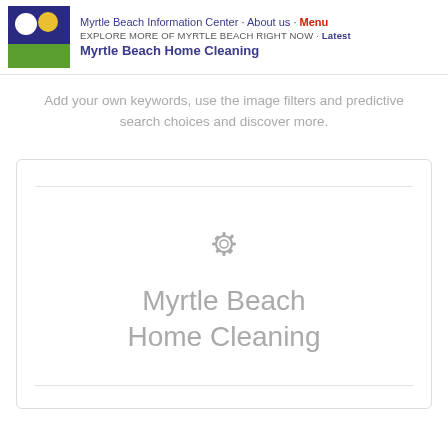[Figure (logo): Myrtle Beach Information Center logo: dark blue square with white circle and yellow sun, green rectangle below]
Myrtle Beach Information Center · About us · Menu
EXPLORE MORE OF MYRTLE BEACH RIGHT NOW · Latest
Myrtle Beach Home Cleaning
Add your own keywords, use the image filters and predictive search choices and discover more.
[Figure (illustration): Card with a decorative circular gear/sun icon and text 'Myrtle Beach Home Cleaning' in gray]